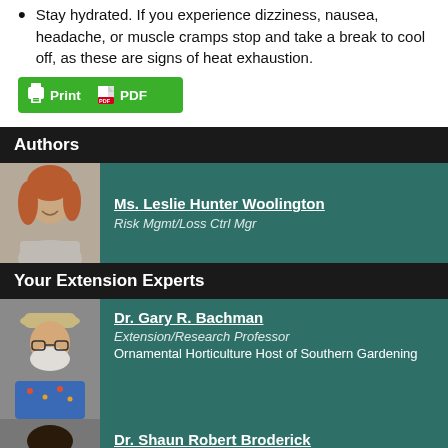Stay hydrated. If you experience dizziness, nausea, headache, or muscle cramps stop and take a break to cool off, as these are signs of heat exhaustion.
[Figure (screenshot): Green Print/PDF button with printer and PDF icons]
Authors
[Figure (photo): Headshot of Ms. Leslie Hunter Woolington]
Ms. Leslie Hunter Woolington
Risk Mgmt/Loss Ctrl Mgr
Your Extension Experts
[Figure (photo): Headshot of Dr. Gary R. Bachman]
Dr. Gary R. Bachman
Extension/Research Professor
Ornamental Horticulture Host of Southern Gardening
[Figure (photo): Headshot of Dr. Shaun Robert Broderick]
Dr. Shaun Robert Broderick